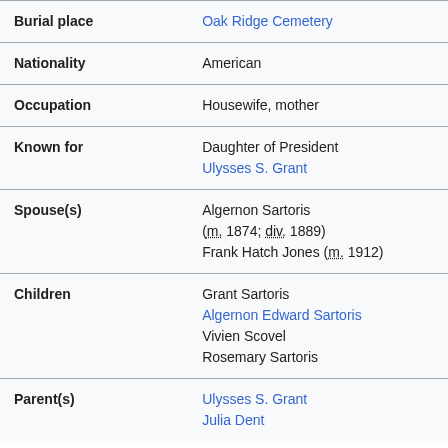| Field | Value |
| --- | --- |
| Burial place | Oak Ridge Cemetery |
| Nationality | American |
| Occupation | Housewife, mother |
| Known for | Daughter of President Ulysses S. Grant |
| Spouse(s) | Algernon Sartoris (m. 1874; div. 1889)
Frank Hatch Jones (m. 1912) |
| Children | Grant Sartoris
Algernon Edward Sartoris
Vivien Scovel
Rosemary Sartoris |
| Parent(s) | Ulysses S. Grant
Julia Dent |